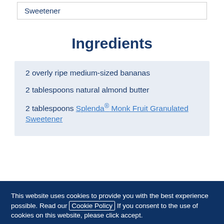| Sweetener |
Ingredients
2 overly ripe medium-sized bananas
2 tablespoons natural almond butter
2 tablespoons Splenda® Monk Fruit Granulated Sweetener
This website uses cookies to provide you with the best experience possible. Read our Cookie Policy If you consent to the use of cookies on this website, please click accept.
ACCEPT